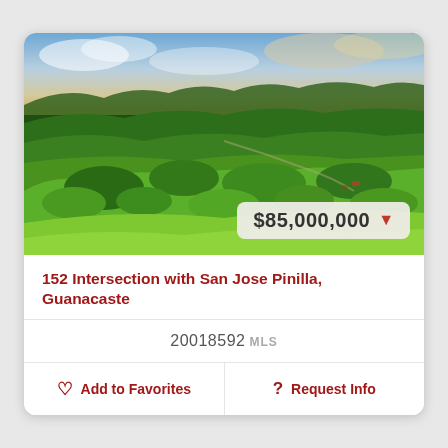[Figure (photo): Aerial drone photo of lush tropical forest and green hills in Guanacaste, Costa Rica, with mountains in the background and a partly cloudy sky. A price badge showing $85,000,000 with a red down arrow is overlaid in the bottom-right corner.]
152 Intersection with San Jose Pinilla, Guanacaste
20018592 MLS
Add to Favorites
Request Info